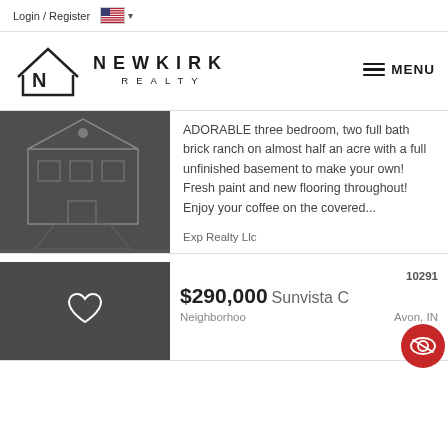Login / Register
[Figure (logo): Newkirk Realty logo with house/N icon and text NEWKIRK REALTY, plus MENU hamburger button]
[Figure (photo): Dark grey listing photo showing house outline graphic]
ADORABLE three bedroom, two full bath brick ranch on almost half an acre with a full unfinished basement to make your own! Fresh paint and new flooring throughout! Enjoy your coffee on the covered...
Exp Realty Llc
[Figure (photo): Dark grey listing photo with heart/favorite icon overlay]
10291
$290,000
Sunvista C
Neighborhoo
Avon, IN